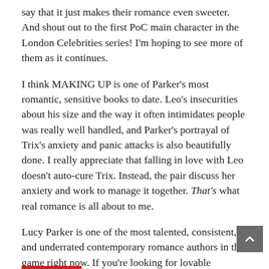say that it just makes their romance even sweeter. And shout out to the first PoC main character in the London Celebrities series! I'm hoping to see more of them as it continues.
I think MAKING UP is one of Parker's most romantic, sensitive books to date. Leo's insecurities about his size and the way it often intimidates people was really well handled, and Parker's portrayal of Trix's anxiety and panic attacks is also beautifully done. I really appreciate that falling in love with Leo doesn't auto-cure Trix. Instead, the pair discuss her anxiety and work to manage it together. That's what real romance is all about to me.
Lucy Parker is one of the most talented, consistent, and underrated contemporary romance authors in the game right now. If you're looking for lovable characters, amazing banter, and nuanced relationships, then you need to read her books!